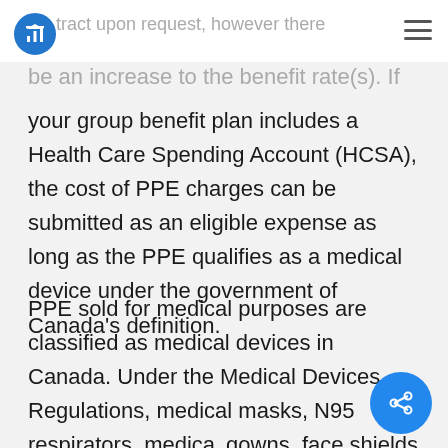tract upon request, however there
be an increase to the benefit rate(s). If your group benefit plan includes a Health Care Spending Account (HCSA), the cost of PPE charges can be submitted as an eligible expense as long as the PPE qualifies as a medical device under the government of Canada's definition.
PPE sold for medical purposes are classified as medical devices in Canada. Under the Medical Devices Regulations, medical masks, N95 respirators, medical gowns, face shields and medical goggles